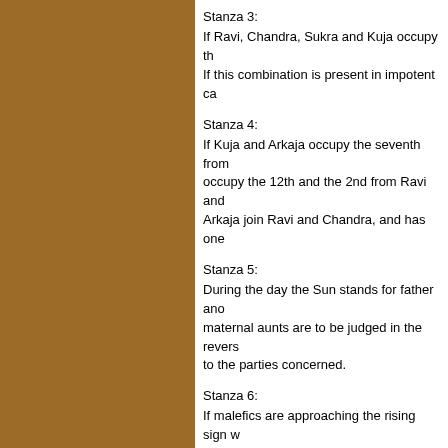Stanza 3:
If Ravi, Chandra, Sukra and Kuja occupy th
If this combination is present in impotent ca
Stanza 4:
If Kuja and Arkaja occupy the seventh from
occupy the 12th and the 2nd from Ravi and
Arkaja join Ravi and Chandra, and has one
Stanza 5:
During the day the Sun stands for father ano
maternal aunts are to be judged in the revers
to the parties concerned.
Stanza 6:
If malefics are approaching the rising sign v
aspected by Mars or weak Moon she dies.
Stanza 7:
If the rising sign and the Moon are betwixt t
pregnancy
Stanza 8:
If from the rising sign of the Moon the 4th h
from lagna, the 4th and 12th houses are occ
« Back